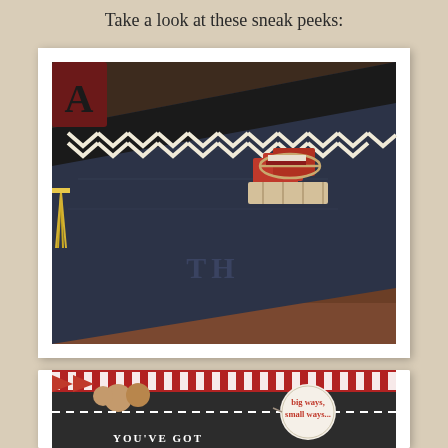Take a look at these sneak peeks:
[Figure (photo): Close-up photo of a dark navy/chalkboard-style book or box with monogram 'TH', topped with black and white chevron ribbon, small red matchbooks tied with twine, and a yellow tassel, resting on wooden slats]
[Figure (photo): Close-up photo of a dark chalkboard container with white dashed stitching detail, red and white striped ribbon, cookies/baked goods, and a circular tag reading 'big ways, small ways...' with text at bottom reading 'YOU'VE GOT']